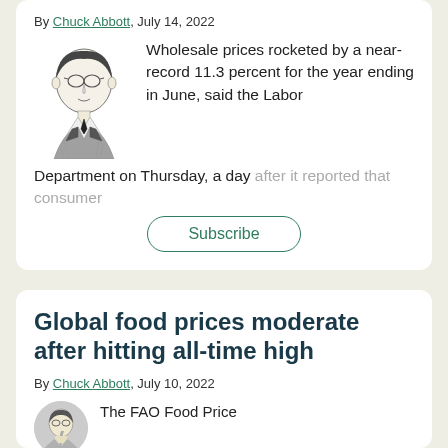By Chuck Abbott, July 14, 2022
[Figure (illustration): Black and white line drawing portrait of a middle-aged man with glasses, wearing a suit and tie]
Wholesale prices rocketed by a near-record 11.3 percent for the year ending in June, said the Labor Department on Thursday, a day after it reported that consumer
Subscribe
Global food prices moderate after hitting all-time high
By Chuck Abbott, July 10, 2022
[Figure (illustration): Partial black and white circular portrait of an author]
The FAO Food Price